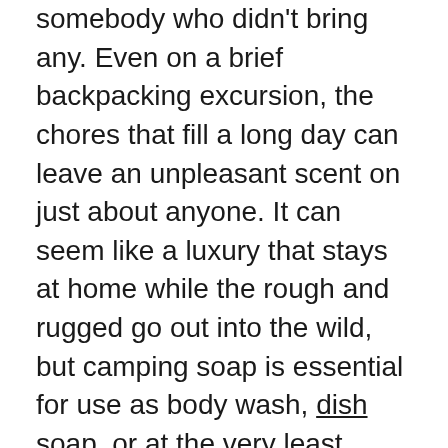somebody who didn't bring any. Even on a brief backpacking excursion, the chores that fill a long day can leave an unpleasant scent on just about anyone. It can seem like a luxury that stays at home while the rough and rugged go out into the wild, but camping soap is essential for use as body wash, dish soap, or at the very least hand sanitizer.
Even at a campsite with no water source, the right camp soap can be paired with one of these camping showers and towels to keep people and their various camping gear, cool gadgets, or reusable cutlery clean and ready. One of the surest ways to keep everything in your rucksack